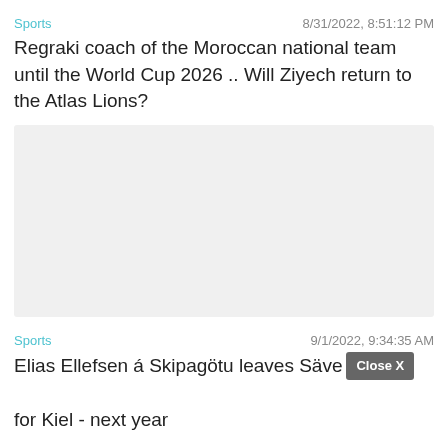Sports   8/31/2022, 8:51:12 PM
Regraki coach of the Moroccan national team until the World Cup 2026 .. Will Ziyech return to the Atlas Lions?
[Figure (photo): Gray placeholder image area]
Sports   9/1/2022, 9:34:35 AM
Elias Ellefsen á Skipagötu leaves Säve... for Kiel - next year